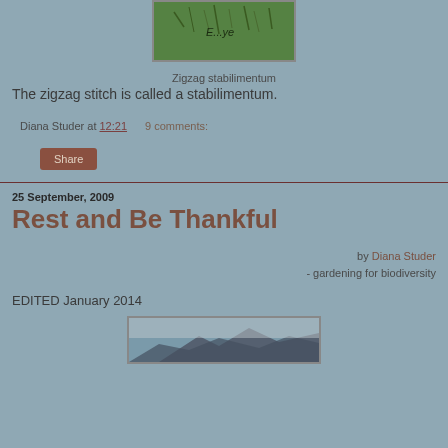[Figure (photo): Green plant/grass photo with text overlay showing 'E...ye']
Zigzag stabilimentum
The zigzag stitch is called a stabilimentum.
Diana Studer at 12:21   9 comments:
Share
25 September, 2009
Rest and Be Thankful
by Diana Studer - gardening for biodiversity
EDITED January 2014
[Figure (photo): Mountain landscape photo at bottom of page]